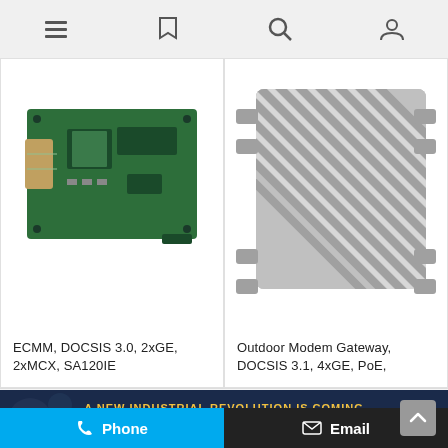Navigation bar with menu, bookmark, search, and account icons
[Figure (photo): ECMM circuit board module, green PCB with chips and connectors]
ECMM, DOCSIS 3.0, 2xGE, 2xMCX, SA120IE
[Figure (photo): Outdoor Modem Gateway device, silver ribbed aluminium enclosure]
Outdoor Modem Gateway, DOCSIS 3.1, 4xGE, PoE,
[Figure (photo): 5G industrial revolution promotional banner with outdoor antenna device, dark blue background with text 'A NEW INDUSTRIAL REVOLUTION IS COMING' and subtitle '5G NR technology and private network widely used in a great variety of Industrial Applications']
Phone   Email